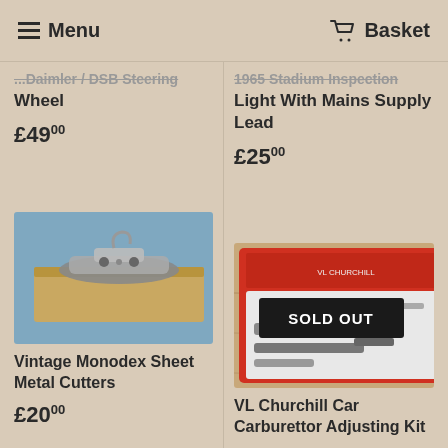Menu | Basket
...Daimler / DSB Steering Wheel
£49.00
1965 Stadium Inspection Light With Mains Supply Lead
£25.00
[Figure (photo): Vintage Monodex Sheet Metal Cutters on cardboard box with blue background]
Vintage Monodex Sheet Metal Cutters
£20.00
[Figure (photo): VL Churchill Car Carburettor Adjusting Kit in red case with SOLD OUT badge]
VL Churchill Car Carburettor Adjusting Kit